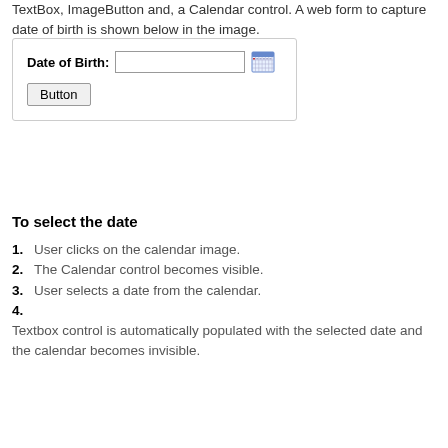TextBox, ImageButton and, a Calendar control. A web form to capture date of birth is shown below in the image.
[Figure (screenshot): A web form screenshot showing a 'Date of Birth:' label with a text input box, a calendar icon (ImageButton), and a Button below.]
To select the date
1. User clicks on the calendar image.
2. The Calendar control becomes visible.
3. User selects a date from the calendar.
4. Textbox control is automatically populated with the selected date and the calendar becomes invisible.